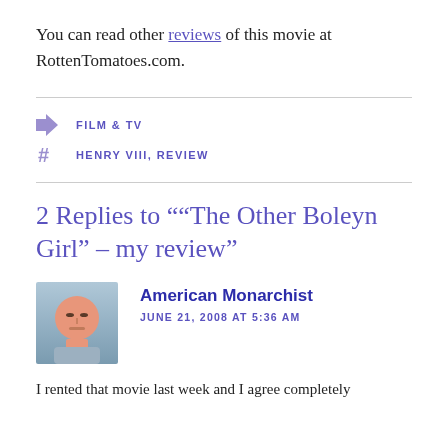You can read other reviews of this movie at RottenTomatoes.com.
FILM & TV
HENRY VIII, REVIEW
2 Replies to "“The Other Boleyn Girl” – my review"
American Monarchist
JUNE 21, 2008 AT 5:36 AM
I rented that movie last week and I agree completely